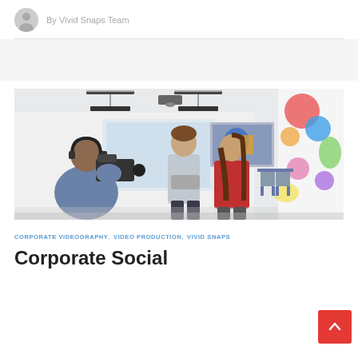By Vivid Snaps Team
[Figure (photo): A cameraman filming a man and woman in a modern office/classroom setting with colorful mural wall art and a presentation screen in the background.]
CORPORATE VIDEOGRAPHY, VIDEO PRODUCTION, VIVID SNAPS
Corporate Social